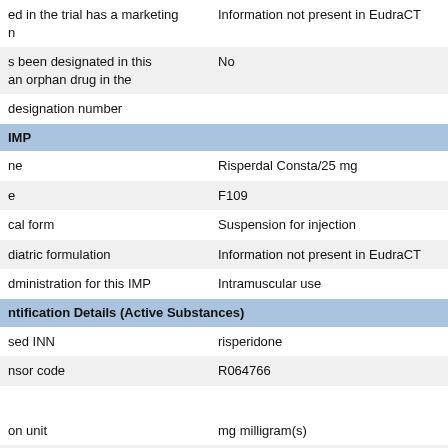| Field | Value |
| --- | --- |
| ed in the trial has a marketing n | Information not present in EudraCT |
| s been designated in this an orphan drug in the | No |
| designation number |  |
| IMP |  |
| ne | Risperdal Consta/25 mg |
| e | F109 |
| cal form | Suspension for injection |
| diatric formulation | Information not present in EudraCT |
| dministration for this IMP | Intramuscular use |
| ntification Details (Active Substances) |  |
| sed INN | risperidone |
| nsor code | R064766 |
| on unit | mg milligram(s) |
| on type | equal |